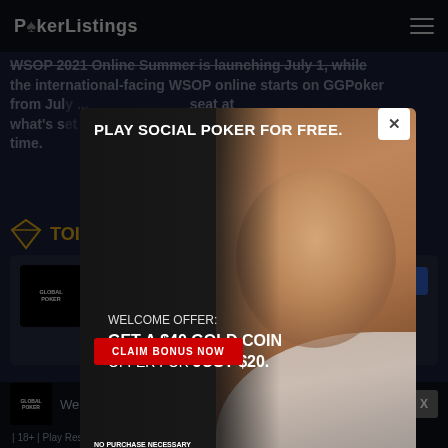PokerListings
WSOP 2021 Online Summer is launching July 1, while the international-facing WSOP online starts on GGPoker from July ... seat at what's set ... of all time.
TOI
[Figure (screenshot): Global Poker card with Visit Site button in background]
[Figure (infographic): Global Poker popup modal advertisement. Header: PLAY SOCIAL POKER FOR FREE. Welcome offer: GET A $40 GOLD COIN OFFER FOR JUST $20. Red button: CLAIM BONUS NOW. Fine print: NO PURCHASE NECESSARY. VGW Group, void where prohibited by law. See T&Cs. 18+ Offer available to new customers only. Global Poker logo bottom right.]
Welcome pack
Visit Site
| 18+ | Play Responsibly | T&C Apply